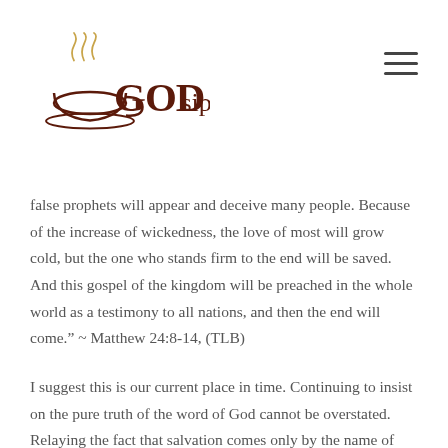GODsip
false prophets will appear and deceive many people. Because of the increase of wickedness, the love of most will grow cold, but the one who stands firm to the end will be saved. And this gospel of the kingdom will be preached in the whole world as a testimony to all nations, and then the end will come.” ~ Matthew 24:8-14, (TLB)
I suggest this is our current place in time. Continuing to insist on the pure truth of the word of God cannot be overstated. Relaying the fact that salvation comes only by the name of Jesus, and staying strong in our study of the word are imperative.